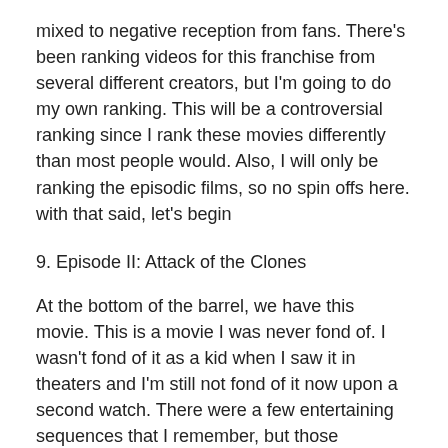mixed to negative reception from fans. There's been ranking videos for this franchise from several different creators, but I'm going to do my own ranking. This will be a controversial ranking since I rank these movies differently than most people would. Also, I will only be ranking the episodic films, so no spin offs here. with that said, let's begin
9. Episode II: Attack of the Clones
At the bottom of the barrel, we have this movie. This is a movie I was never fond of. I wasn't fond of it as a kid when I saw it in theaters and I'm still not fond of it now upon a second watch. There were a few entertaining sequences that I remember, but those sequences couldn't save the movie as a whole. I thought it was just really really boring, and I didn't like the story or the character development at all. Anakin was stupid and Padme was stupid for marrying him. That was my biggest problem with this movie. It was a mess, and definitely the black sheep of the prequel trilogy, and it's not a film I'll be